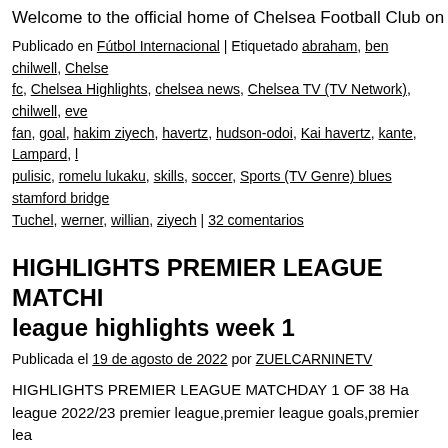Welcome to the official home of Chelsea Football Club on You
Publicado en Fútbol Internacional | Etiquetado abraham, ben chilwell, Chelsea fc, Chelsea Highlights, chelsea news, Chelsea TV (TV Network), chilwell, eve fan, goal, hakim ziyech, havertz, hudson-odoi, Kai havertz, kante, Lampard, l pulisic, romelu lukaku, skills, soccer, Sports (TV Genre) blues stamford bridge Tuchel, werner, willian, ziyech | 32 comentarios
HIGHLIGHTS PREMIER LEAGUE MATCHI league highlights week 1
Publicada el 19 de agosto de 2022 por ZUELCARNINETV
HIGHLIGHTS PREMIER LEAGUE MATCHDAY 1 OF 38 Ha league 2022/23 premier league,premier league goals,premier lea highlights week 1,fantasy premier league,english premier league league 2022/23 Camisetas TURQUÍA Información de primera m
Publicado en Fútbol Internacional | Etiquetado english premier league, fantas Debut, premier league, Premier League goals, premier league highlights, pre league intro 2022/23, александр журавлев, амкал, астон вилла, брентфор зинченко, красава, ливерпуль, лига чемпионов, медиалига, мяч продакш